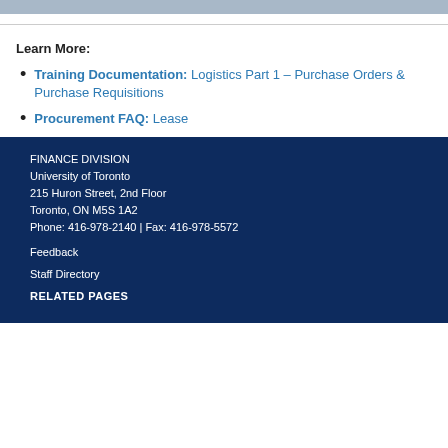Learn More:
Training Documentation: Logistics Part 1 – Purchase Orders & Purchase Requisitions
Procurement FAQ: Lease
FINANCE DIVISION
University of Toronto
215 Huron Street, 2nd Floor
Toronto, ON M5S 1A2
Phone: 416-978-2140 | Fax: 416-978-5572

Feedback

Staff Directory

RELATED PAGES